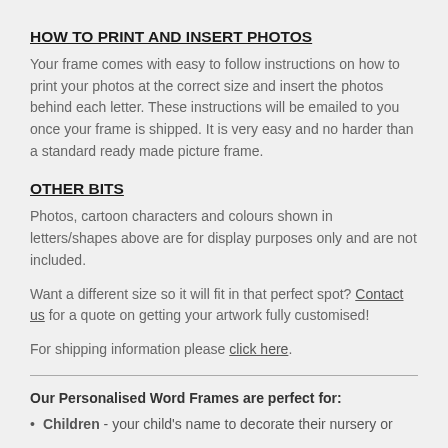HOW TO PRINT AND INSERT PHOTOS
Your frame comes with easy to follow instructions on how to print your photos at the correct size and insert the photos behind each letter. These instructions will be emailed to you once your frame is shipped. It is very easy and no harder than a standard ready made picture frame.
OTHER BITS
Photos, cartoon characters and colours shown in letters/shapes above are for display purposes only and are not included.
Want a different size so it will fit in that perfect spot? Contact us for a quote on getting your artwork fully customised!
For shipping information please click here.
Our Personalised Word Frames are perfect for:
Children - your child's name to decorate their nursery or